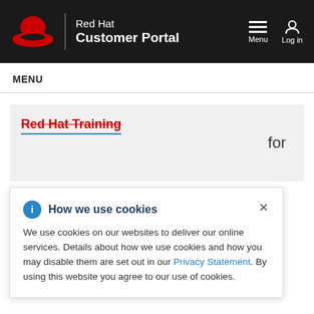Red Hat Customer Portal — Menu, Log in
MENU
Red Hat Training
for
How we use cookies
We use cookies on our websites to deliver our online services. Details about how we use cookies and how you may disable them are set out in our Privacy Statement. By using this website you agree to our use of cookies.
Chapter 31. Using